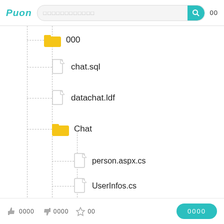Puon [search bar] 00
000 (folder)
chat.sql
datachat.ldf
Chat (folder)
person.aspx.cs
UserInfos.cs
head.aspx.cs
0000  0000  00  [button: 0000]